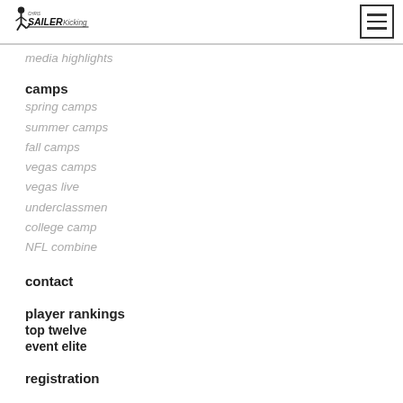Chris Sailer Kicking — navigation menu
media highlights
camps
spring camps
summer camps
fall camps
vegas camps
vegas live
underclassmen
college camp
NFL combine
contact
player rankings
top twelve
event elite
registration